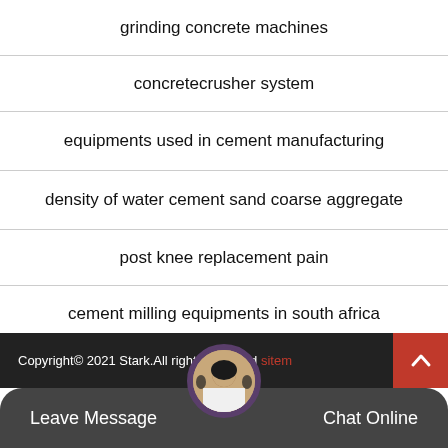grinding concrete machines
concretecrusher system
equipments used in cement manufacturing
density of water cement sand coarse aggregate
post knee replacement pain
cement milling equipments in south africa
Copyright© 2021 Stark.All rights reserved sitemap
Leave Message  Chat Online